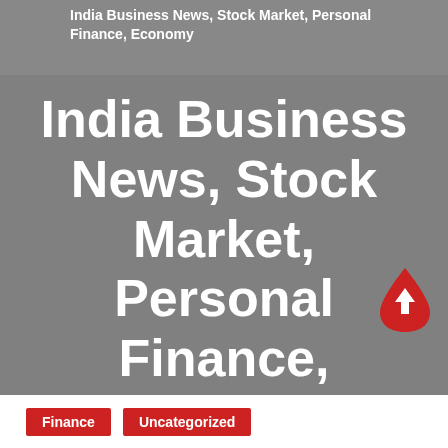India Business News, Stock Market, Personal Finance, Economy
India Business News, Stock Market, Personal Finance, Economy
[Figure (illustration): Red teardrop/droplet shaped scroll-to-top button with an upward arrow icon]
Finance
Uncategorized